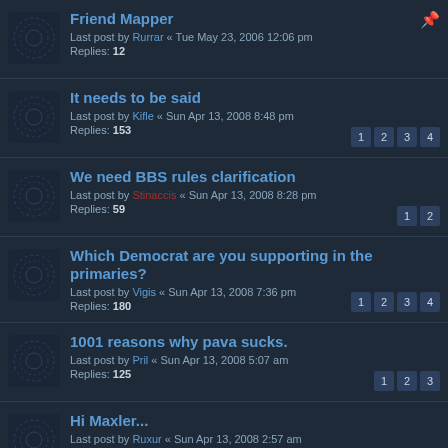Friend Mapper — Last post by Rurrar « Tue May 23, 2006 12:06 pm — Replies: 12
It needs to be said — Last post by Kifle « Sun Apr 13, 2008 8:48 pm — Replies: 153 — pages: 1 2 3 4
We need BBS rules clarification — Last post by Stinaccis « Sun Apr 13, 2008 8:28 pm — Replies: 59 — pages: 1 2
Which Democrat are you supporting in the primaries? — Last post by Vigis « Sun Apr 13, 2008 7:36 pm — Replies: 180 — pages: 1 2 3 4
1001 reasons why pava sucks. — Last post by Pril « Sun Apr 13, 2008 5:07 am — Replies: 125 — pages: 1 2 3
Hi Maxler... — Last post by Ruxur « Sun Apr 13, 2008 2:57 am — Replies: 72 — pages: 1 2
MMOs — Last post by Colje « Sat Apr 12, 2008 11:24 pm — Replies: 30